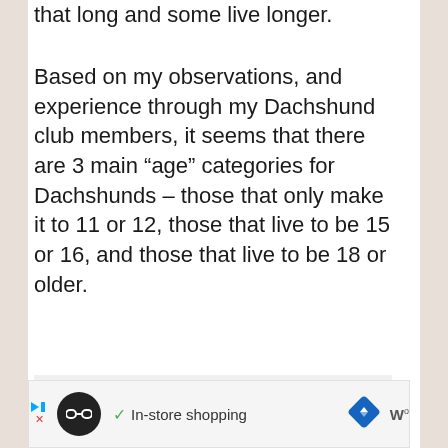that long and some live longer.
Based on my observations, and experience through my Dachshund club members, it seems that there are 3 main “age” categories for Dachshunds – those that only make it to 11 or 12, those that live to be 15 or 16, and those that live to be 18 or older.
[Figure (other): Advertisement bar at bottom with black circle logo, checkmark and 'In-store shopping' text, blue diamond navigation icon, and W° logo]